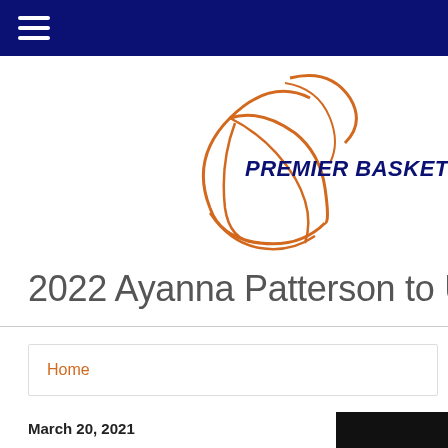[Figure (logo): Premier Basketball logo — orange basketball outline with dark navy italic bold text 'PREMIER BASKETBALL']
2022 Ayanna Patterson to UCon
Home
March 20, 2021